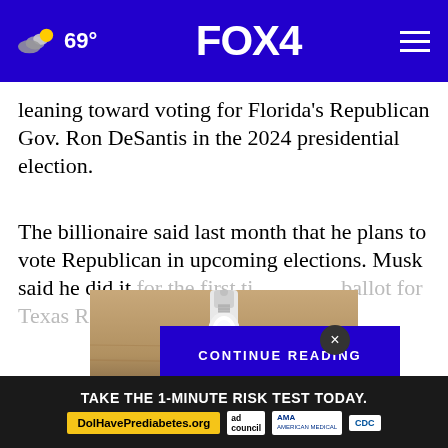69° FOX 4
leaning toward voting for Florida's Republican Gov. Ron DeSantis in the 2024 presidential election.
The billionaire said last month that he plans to vote Republican in upcoming elections. Musk said he did it for the first ti… ballot for Texas Republi… a special
[Figure (screenshot): CONTINUE READING button overlay in blue]
[Figure (photo): Close-up photo of a white LED light bulb on a wooden surface]
[Figure (infographic): Advertisement: TAKE THE 1-MINUTE RISK TEST TODAY. DolHavePrediabetes.org with AMA and CDC logos]